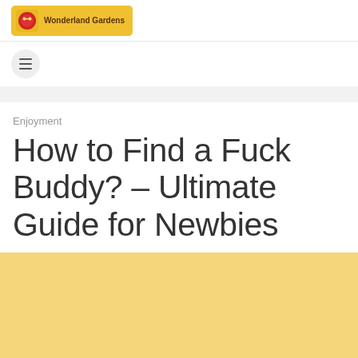Wonderland Gardens
[Figure (logo): Wonderland Gardens logo with icon and text on yellow background]
hamburger menu button
Enjoyment
How to Find a Fuck Buddy? – Ultimate Guide for Newbies
[Figure (illustration): Yellow background section with partial circular element at bottom]